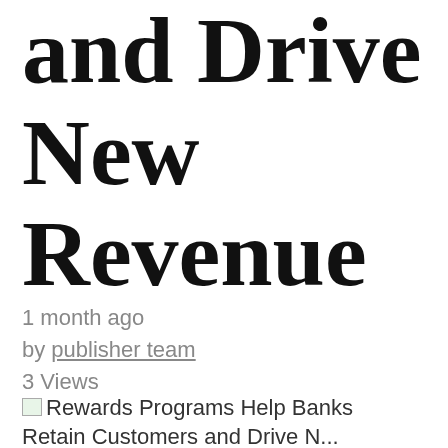and Drive New Revenue
1 month ago
by publisher team
3 Views
Rewards Programs Help Banks Retain Customers and Drive N...